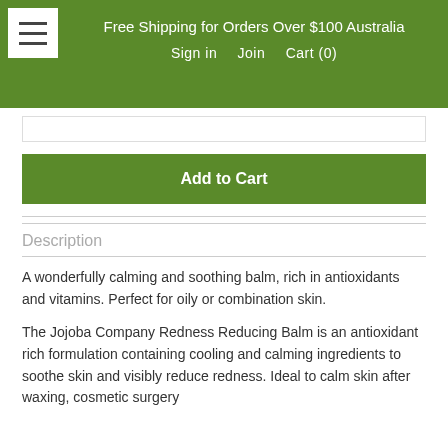Free Shipping for Orders Over $100 Australia
Sign in   Join   Cart (0)
Add to Cart
Description
A wonderfully calming and soothing balm, rich in antioxidants and vitamins. Perfect for oily or combination skin.
The Jojoba Company Redness Reducing Balm is an antioxidant rich formulation containing cooling and calming ingredients to soothe skin and visibly reduce redness. Ideal to calm skin after waxing, cosmetic surgery